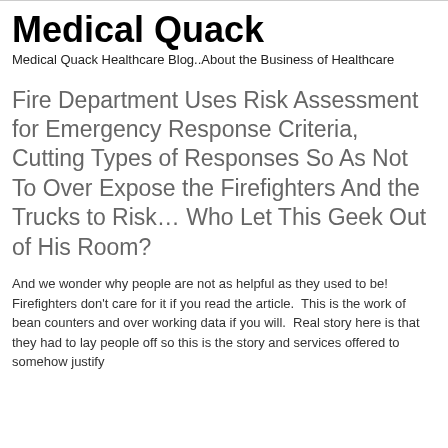Medical Quack
Medical Quack Healthcare Blog..About the Business of Healthcare
Fire Department Uses Risk Assessment for Emergency Response Criteria, Cutting Types of Responses So As Not To Over Expose the Firefighters And the Trucks to Risk… Who Let This Geek Out of His Room?
And we wonder why people are not as helpful as they used to be!  Firefighters don't care for it if you read the article.  This is the work of bean counters and over working data if you will.  Real story here is that they had to lay people off so this is the story and services offered to somehow justify